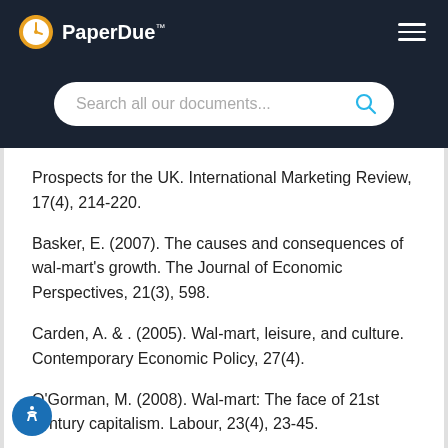PaperDue™
Prospects for the UK. International Marketing Review, 17(4), 214-220.
Basker, E. (2007). The causes and consequences of wal-mart's growth. The Journal of Economic Perspectives, 21(3), 598.
Carden, A. & . (2005). Wal-mart, leisure, and culture. Contemporary Economic Policy, 27(4).
O'Gorman, M. (2008). Wal-mart: The face of 21st century capitalism. Labour, 23(4), 23-45.